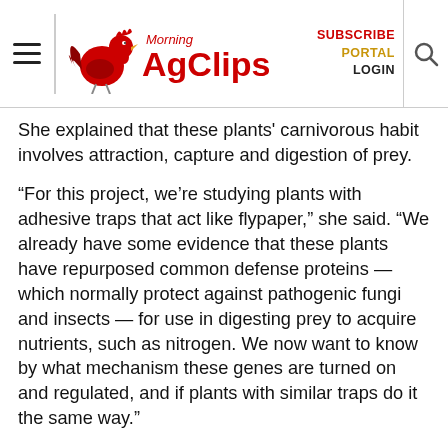Morning AgClips — SUBSCRIBE PORTAL LOGIN
She explained that these plants' carnivorous habit involves attraction, capture and digestion of prey.
“For this project, we’re studying plants with adhesive traps that act like flypaper,” she said. “We already have some evidence that these plants have repurposed common defense proteins — which normally protect against pathogenic fungi and insects — for use in digesting prey to acquire nutrients, such as nitrogen. We now want to know by what mechanism these genes are turned on and regulated, and if plants with similar traps do it the same way.”
Renner noted that the interdisciplinary approach of the research has significant potential to advance knowledge of plant physiology, including studies of nutrition and the functions of plant hormones.